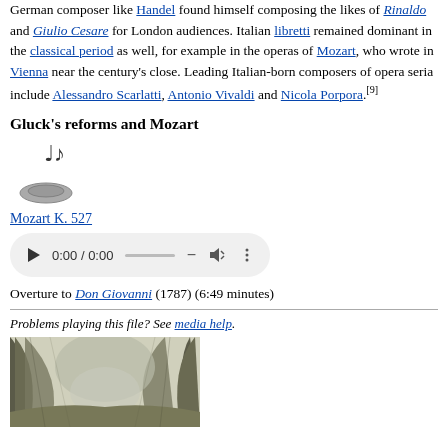German composer like Handel found himself composing the likes of Rinaldo and Giulio Cesare for London audiences. Italian libretti remained dominant in the classical period as well, for example in the operas of Mozart, who wrote in Vienna near the century's close. Leading Italian-born composers of opera seria include Alessandro Scarlatti, Antonio Vivaldi and Nicola Porpora.[9]
Gluck's reforms and Mozart
[Figure (illustration): Music note icon with a hat, representing an audio media element for Mozart K. 527]
Mozart K. 527
[Figure (screenshot): Audio player widget showing 0:00 / 0:00 with play button, progress bar, volume and more options icons]
Overture to Don Giovanni (1787) (6:49 minutes)
Problems playing this file? See media help.
[Figure (illustration): Etching or engraving of a landscape scene with trees and foliage, appears to be a historical scenic illustration]